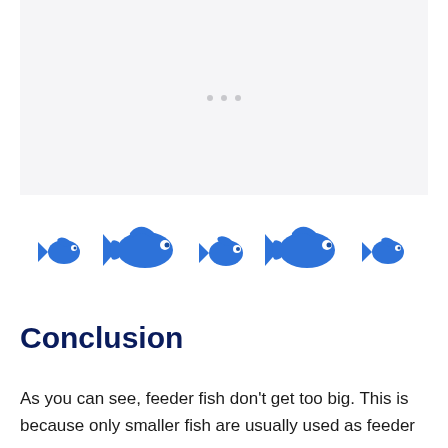[Figure (photo): Placeholder image area with light gray background and three small dots indicating loading or empty image]
[Figure (illustration): Five blue fish icons arranged in a row — alternating between small fish and larger fish facing left, representing feeder fish of different sizes]
Conclusion
As you can see, feeder fish don't get too big. This is because only smaller fish are usually used as feeder